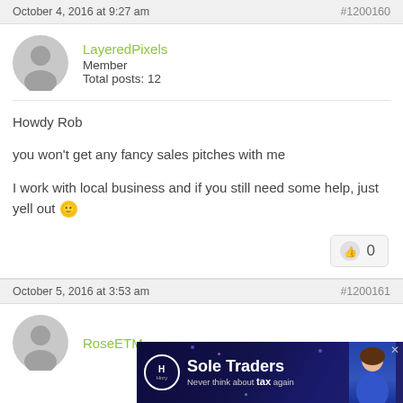October 4, 2016 at 9:27 am    #1200160
LayeredPixels
Member
Total posts: 12
Howdy Rob

you won't get any fancy sales pitches with me

I work with local business and if you still need some help, just yell out 🙂
October 5, 2016 at 3:53 am    #1200161
RoseETM
[Figure (infographic): Advertisement banner: Sole Traders - Never think about tax again, with Hnry logo and woman photo]